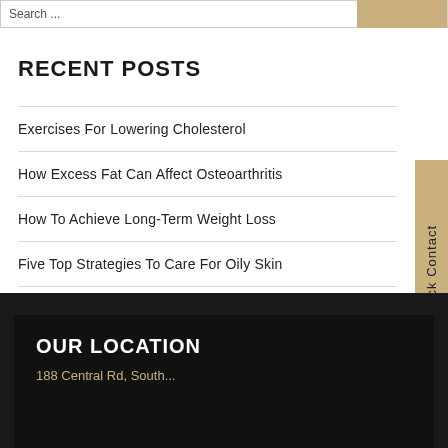Search ...
RECENT POSTS
Exercises For Lowering Cholesterol
How Excess Fat Can Affect Osteoarthritis
How To Achieve Long-Term Weight Loss
Five Top Strategies To Care For Oily Skin
Home Remedies For An Ankle Sprain
Quick Contact
OUR LOCATION
188 Central Rd, Southtown...